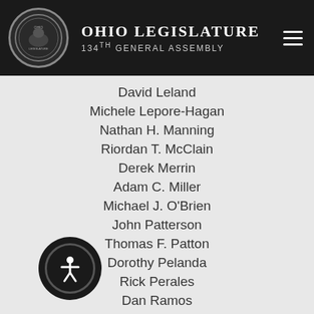Ohio Legislature 134th General Assembly
David Leland
Michele Lepore-Hagan
Nathan H. Manning
Riordan T. McClain
Derek Merrin
Adam C. Miller
Michael J. O'Brien
John Patterson
Thomas F. Patton
Dorothy Pelanda
Rick Perales
Dan Ramos
Bill Reineke
Wes Retherford
Craig S. Riedel
Kristina Roegner
John M. Rogers